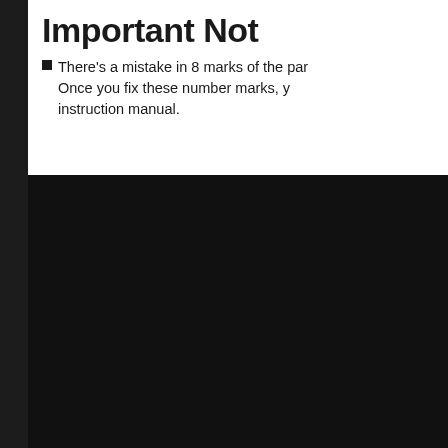Important Not
There's a mistake in 8 marks of the par Once you fix these number marks, y instruction manual.